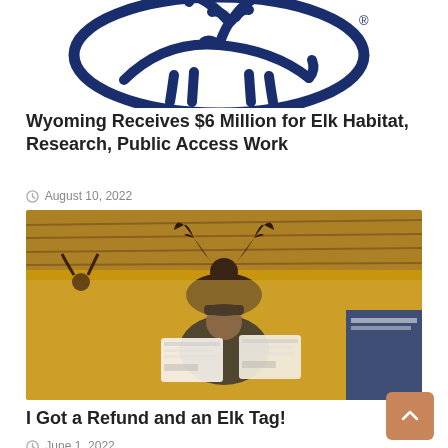[Figure (logo): Rocky Mountain Elk Foundation logo — dark navy blue elk silhouette inside an oval ring, with registered trademark symbol]
Wyoming Receives $6 Million for Elk Habitat, Research, Public Access Work
August 10, 2022
[Figure (photo): A smiling man holding two checks inside a rustic building with mounted elk and deer antlers on the wood-paneled ceiling and walls, with a blue sign visible to the right]
I Got a Refund and an Elk Tag!
June 1, 2022